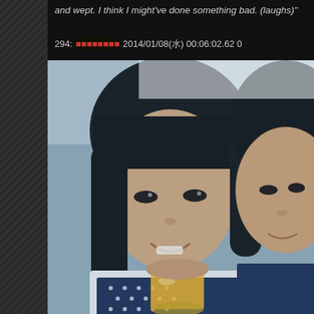and wept. I think I might've done something bad. (laughs)"
294: ■■■■■■■■ 2014/01/08(水) 00:06:02.62 0
[Figure (photo): A selfie photo of two young Asian women/girls, one in the foreground with black bowl-cut hair smiling and holding an orange/yellow drink, the other partially visible on the right side. The photo has a slightly blue-tinted filter. Dark background.]